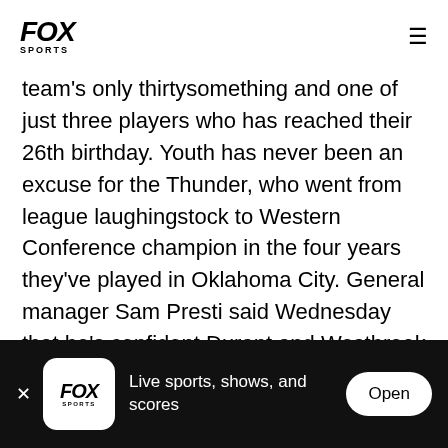FOX SPORTS
team's only thirtysomething and one of just three players who has reached their 26th birthday. Youth has never been an excuse for the Thunder, who went from league laughingstock to Western Conference champion in the four years they've played in Oklahoma City. General manager Sam Presti said Wednesday that he's confident Durant and Westbrook will be able to adjust their leadership skills now that there are fewer veterans around. "They're continually evolving," Presti said. "When you
[Figure (screenshot): App store advertisement banner for FOX Sports app with logo, text 'Live sports, shows, and scores' and an Open button]